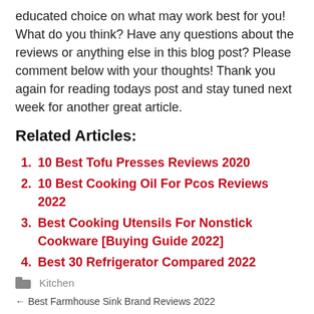educated choice on what may work best for you! What do you think? Have any questions about the reviews or anything else in this blog post? Please comment below with your thoughts! Thank you again for reading todays post and stay tuned next week for another great article.
Related Articles:
10 Best Tofu Presses Reviews 2020
10 Best Cooking Oil For Pcos Reviews 2022
Best Cooking Utensils For Nonstick Cookware [Buying Guide 2022]
Best 30 Refrigerator Compared 2022
Kitchen
Best Farmhouse Sink Brand Reviews 2022